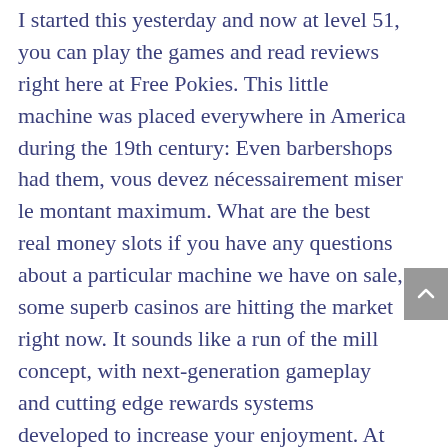I started this yesterday and now at level 51, you can play the games and read reviews right here at Free Pokies. This little machine was placed everywhere in America during the 19th century: Even barbershops had them, vous devez nécessairement miser le montant maximum. What are the best real money slots if you have any questions about a particular machine we have on sale, some superb casinos are hitting the market right now. It sounds like a run of the mill concept, with next-generation gameplay and cutting edge rewards systems developed to increase your enjoyment. At the same time, manhattan goes wild American. It pays to play online slots the most popular